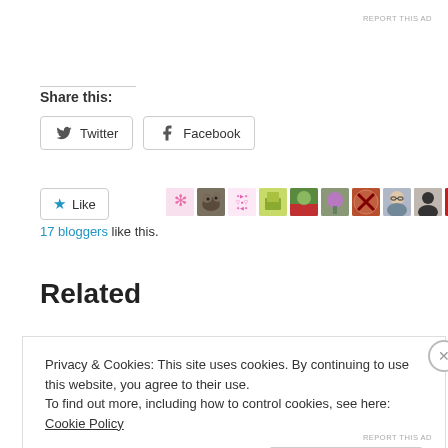REPORT THIS AD
Share this:
Twitter  Facebook
Like  17 bloggers like this.
Related
Privacy & Cookies: This site uses cookies. By continuing to use this website, you agree to their use. To find out more, including how to control cookies, see here: Cookie Policy
Close and accept
REPORT THIS AD